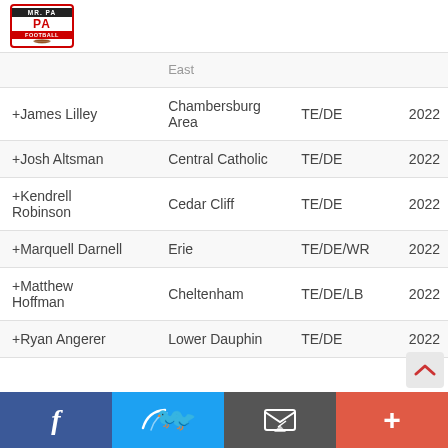[Figure (logo): Mr. PA Football logo in red and black]
| Name | School | Position | Year |
| --- | --- | --- | --- |
| East |  |  |  |
| +James Lilley | Chambersburg Area | TE/DE | 2022 |
| +Josh Altsman | Central Catholic | TE/DE | 2022 |
| +Kendrell Robinson | Cedar Cliff | TE/DE | 2022 |
| +Marquell Darnell | Erie | TE/DE/WR | 2022 |
| +Matthew Hoffman | Cheltenham | TE/DE/LB | 2022 |
| +Ryan Angerer | Lower Dauphin | TE/DE | 2022 |